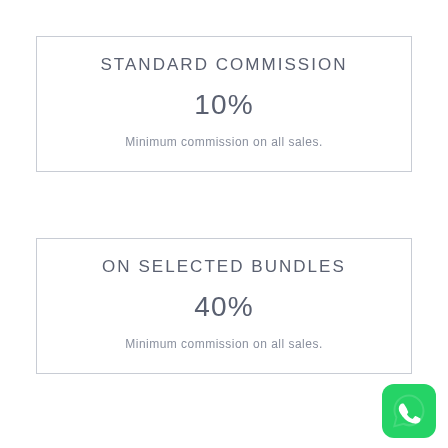STANDARD COMMISSION
10%
Minimum commission on all sales.
ON SELECTED BUNDLES
40%
Minimum commission on all sales.
[Figure (logo): WhatsApp logo icon — green rounded square with white phone/chat bubble icon]